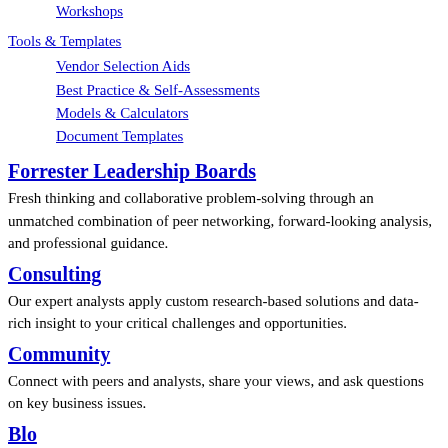Workshops
Tools & Templates
Vendor Selection Aids
Best Practice & Self-Assessments
Models & Calculators
Document Templates
Forrester Leadership Boards
Fresh thinking and collaborative problem-solving through an unmatched combination of peer networking, forward-looking analysis, and professional guidance.
Consulting
Our expert analysts apply custom research-based solutions and data-rich insight to your critical challenges and opportunities.
Community
Connect with peers and analysts, share your views, and ask questions on key business issues.
Blo…